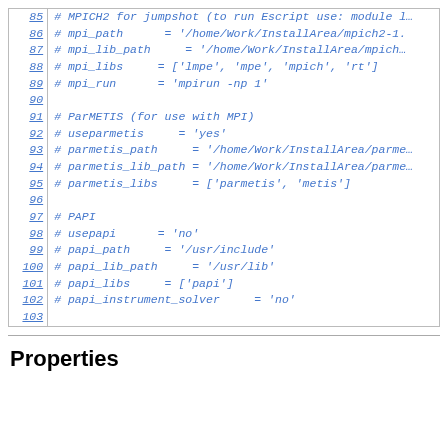[Figure (screenshot): Code block with line numbers 85-103 showing commented-out configuration settings for MPICH2/jumpshot, ParMETIS, and PAPI in a build configuration file.]
Properties